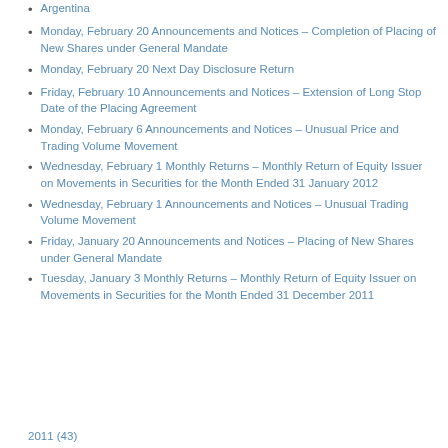Argentina
Monday, February 20 Announcements and Notices – Completion of Placing of New Shares under General Mandate
Monday, February 20 Next Day Disclosure Return
Friday, February 10 Announcements and Notices – Extension of Long Stop Date of the Placing Agreement
Monday, February 6 Announcements and Notices – Unusual Price and Trading Volume Movement
Wednesday, February 1 Monthly Returns – Monthly Return of Equity Issuer on Movements in Securities for the Month Ended 31 January 2012
Wednesday, February 1 Announcements and Notices – Unusual Trading Volume Movement
Friday, January 20 Announcements and Notices – Placing of New Shares under General Mandate
Tuesday, January 3 Monthly Returns – Monthly Return of Equity Issuer on Movements in Securities for the Month Ended 31 December 2011
2011 (43)